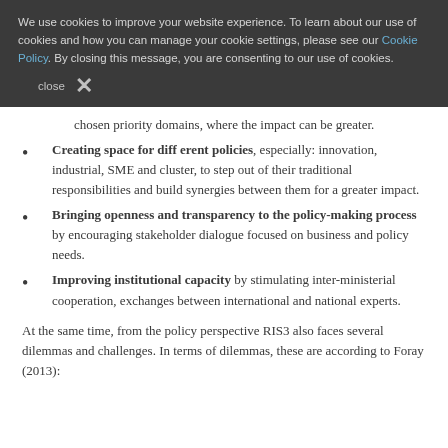We use cookies to improve your website experience. To learn about our use of cookies and how you can manage your cookie settings, please see our Cookie Policy. By closing this message, you are consenting to our use of cookies.
close ✕
chosen priority domains, where the impact can be greater.
Creating space for different policies, especially: innovation, industrial, SME and cluster, to step out of their traditional responsibilities and build synergies between them for a greater impact.
Bringing openness and transparency to the policy-making process by encouraging stakeholder dialogue focused on business and policy needs.
Improving institutional capacity by stimulating inter-ministerial cooperation, exchanges between international and national experts.
At the same time, from the policy perspective RIS3 also faces several dilemmas and challenges. In terms of dilemmas, these are according to Foray (2013):